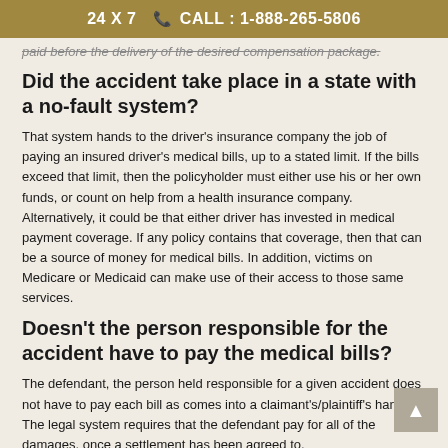24 X 7  CALL : 1-888-265-5806
paid before the delivery of the desired compensation package.
Did the accident take place in a state with a no-fault system?
That system hands to the driver's insurance company the job of paying an insured driver's medical bills, up to a stated limit. If the bills exceed that limit, then the policyholder must either use his or her own funds, or count on help from a health insurance company. Alternatively, it could be that either driver has invested in medical payment coverage. If any policy contains that coverage, then that can be a source of money for medical bills. In addition, victims on Medicare or Medicaid can make use of their access to those same services.
Doesn't the person responsible for the accident have to pay the medical bills?
The defendant, the person held responsible for a given accident does not have to pay each bill as comes into a claimant's/plaintiff's hands. The legal system requires that the defendant pay for all of the damages, once a settlement has been agreed to.